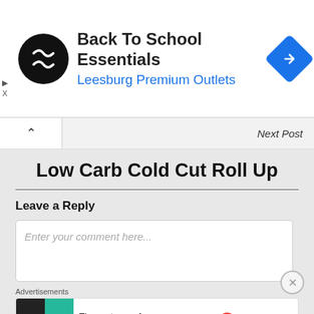[Figure (infographic): Advertisement banner for Back To School Essentials at Leesburg Premium Outlets. Black circular logo with white infinity/arrows symbol on left, large title text 'Back To School Essentials' and blue subtitle 'Leesburg Premium Outlets', blue diamond navigation icon on right.]
Next Post
Low Carb Cold Cut Roll Up
Leave a Reply
Enter your comment here...
Advertisements
[Figure (infographic): Pocket Casts advertisement. Colorful app icon tiles on left, text 'The go-to app for podcast lovers.' and Pocket Casts logo on right.]